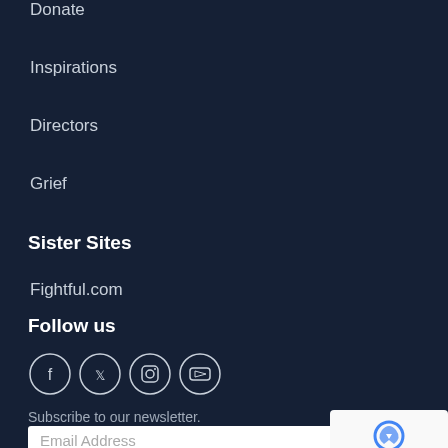Donate
Inspirations
Directors
Grief
Sister Sites
Fightful.com
Follow us
[Figure (other): Social media icons for Facebook, Twitter, Instagram, and YouTube, displayed as outlined circles on dark background]
Subscribe to our newsletter.
Email Address
[Figure (other): reCAPTCHA badge with Privacy and Terms links]